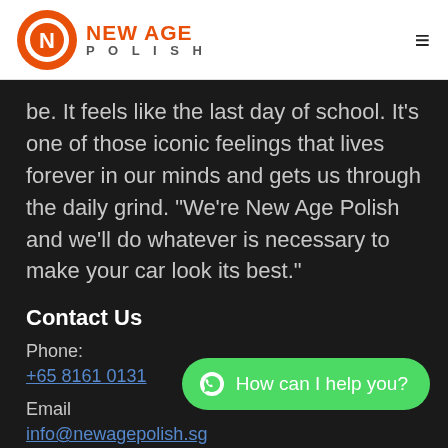NEW AGE POLISH
be. It feels like the last day of school. It's one of those iconic feelings that lives forever in our minds and gets us through the daily grind. "We're New Age Polish and we'll do whatever is necessary to make your car look its best."
Contact Us
Phone:
+65 8161 0131
Email
info@newagepolish.sg
[Figure (other): WhatsApp chat button with text 'How can I help you?']